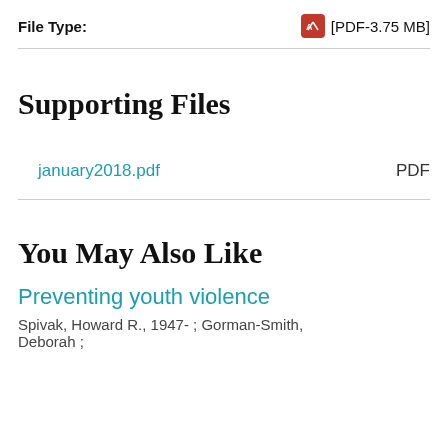File Type:
[PDF-3.75 MB]
Supporting Files
january2018.pdf    PDF
You May Also Like
Preventing youth violence
Spivak, Howard R., 1947- ; Gorman-Smith, Deborah ;